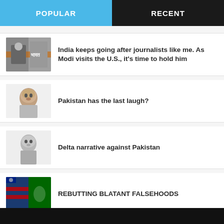POPULAR
RECENT
India keeps going after journalists like me. As Modi visits the U.S., it's time to hold him
Pakistan has the last laugh?
Delta narrative against Pakistan
REBUTTING BLATANT FALSEHOODS
Afghan army collapse 'took us all by surprise ....